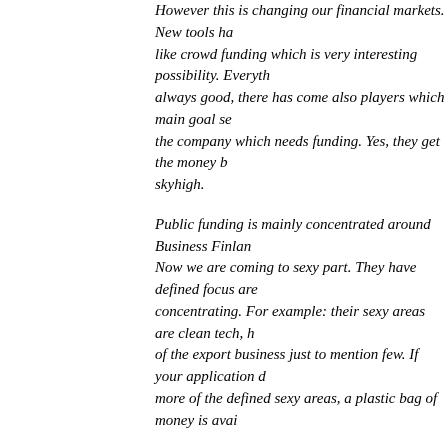However this is changing our financial markets. New tools have emerged like crowd funding which is very interesting possibility. Everything is not always good, there has come also players which main goal seems to milk the company which needs funding. Yes, they get the money but the cost is skyhigh.
Public funding is mainly concentrated around Business Finland. Now we are coming to sexy part. They have defined focus areas they are concentrating. For example: their sexy areas are clean tech, health, part of the export business just to mention few. If your application covers one or more of the defined sexy areas, a plastic bag of money is available.
There is always a but. Where is the hole in the offering? "Boring" must-do business has very much difficulties get get proper funding. The barber shop has market potential to expand from five seats to ten but doesn't have enough money in his/hers pocket. Most likely small loan, small risk. Even with good warranties the bank loan is not guaranteed in Finland? No way Hose. The issue here is that if we forgot old school our basic infrastructure which is a base to develop something on top.
Attachment:
More information:
Write a comment
Once upon a time there were three lads named